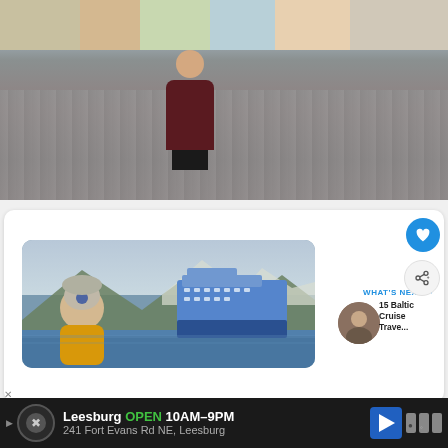[Figure (photo): Woman in dark red jacket standing in a cobblestone town square with colorful buildings in background, other pedestrians visible, overcast/rainy day]
[Figure (photo): Person in yellow puffer jacket and grey knit hat with sunglasses taking selfie with large cruise ship in fjord with snow-capped mountains in background]
WHAT'S NEXT → 15 Baltic Cruise Trave...
Leesburg OPEN 10AM–9PM 241 Fort Evans Rd NE, Leesburg